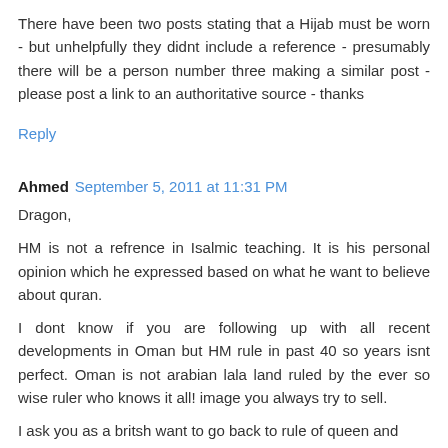There have been two posts stating that a Hijab must be worn - but unhelpfully they didnt include a reference - presumably there will be a person number three making a similar post - please post a link to an authoritative source - thanks
Reply
Ahmed  September 5, 2011 at 11:31 PM
Dragon,
HM is not a refrence in Isalmic teaching. It is his personal opinion which he expressed based on what he want to believe about quran.
I dont know if you are following up with all recent developments in Oman but HM rule in past 40 so years isnt perfect. Oman is not arabian lala land ruled by the ever so wise ruler who knows it all! image you always try to sell.
I ask you as a britsh want to go back to rule of queen and